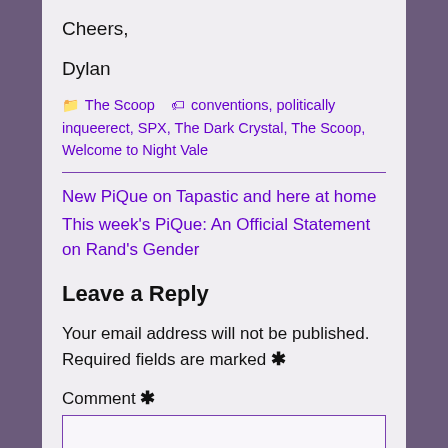Cheers,
Dylan
📁 The Scoop  🏷 conventions, politically inqueerect, SPX, The Dark Crystal, The Scoop, Welcome to Night Vale
New PiQue on Tapastic and here at home
This week's PiQue: An Official Statement on Rand's Gender
Leave a Reply
Your email address will not be published. Required fields are marked *
Comment *